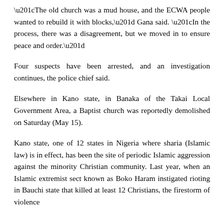“The old church was a mud house, and the ECWA people wanted to rebuild it with blocks,” Gana said. “In the process, there was a disagreement, but we moved in to ensure peace and order.”
Four suspects have been arrested, and an investigation continues, the police chief said.
Elsewhere in Kano state, in Banaka of the Takai Local Government Area, a Baptist church was reportedly demolished on Saturday (May 15).
Kano state, one of 12 states in Nigeria where sharia (Islamic law) is in effect, has been the site of periodic Islamic aggression against the minority Christian community. Last year, when an Islamic extremist sect known as Boko Haram instigated rioting in Bauchi state that killed at least 12 Christians, the firestorm of violence